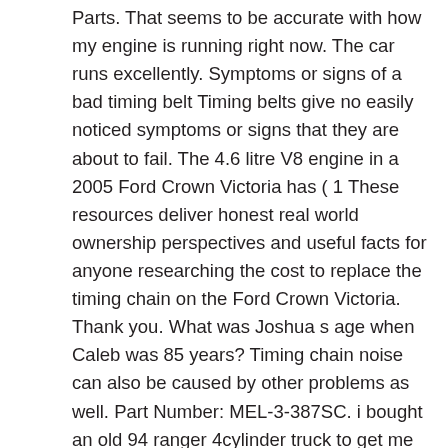Parts. That seems to be accurate with how my engine is running right now. The car runs excellently. Symptoms or signs of a bad timing belt Timing belts give no easily noticed symptoms or signs that they are about to fail. The 4.6 litre V8 engine in a 2005 Ford Crown Victoria has ( 1 These resources deliver honest real world ownership perspectives and useful facts for anyone researching the cost to replace the timing chain on the Ford Crown Victoria. Thank you. What was Joshua s age when Caleb was 85 years? Timing chain noise can also be caused by other problems as well. Part Number: MEL-3-387SC. i bought an old 94 ranger 4cylinder truck to get me around for now. When should the timing chain be replaced on a 1999 ford crown victoria police Order Timing Chain Set for your 2000 Ford Crown Victoria and pick it up in store—make your purchase, find a store near you, and get directions. How does mobility effect diffusion rates. MELLING . Find FORD CROWN